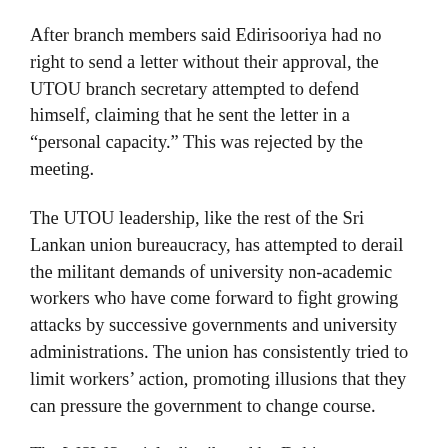After branch members said Edirisooriya had no right to send a letter without their approval, the UTOU branch secretary attempted to defend himself, claiming that he sent the letter in a “personal capacity.” This was rejected by the meeting.
The UTOU leadership, like the rest of the Sri Lankan union bureaucracy, has attempted to derail the militant demands of university non-academic workers who have come forward to fight growing attacks by successive governments and university administrations. The union has consistently tried to limit workers’ action, promoting illusions that they can pressure the government to change course.
The WSWS article distributed by Dehin was entitled “University employees and neighbors are blamed for the death of a student succumbing to dengue!” It exposed